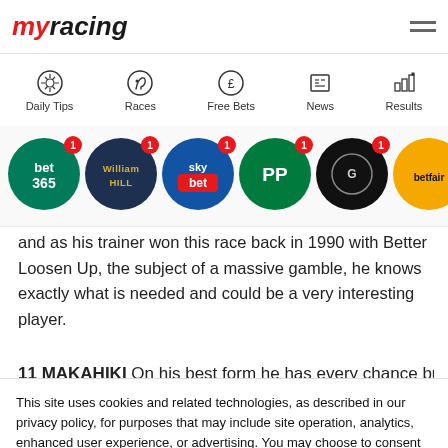myracing
[Figure (screenshot): Navigation bar with icons for Daily Tips, Races, Free Bets, News, Results]
[Figure (screenshot): Row of bookmaker logos: bet365 (1), William Hill (1), Sky Bet (1), PP (1), Grosvenor Sport (1), Betfair (2), Betway (2), 888 (3)]
and as his trainer won this race back in 1990 with Better Loosen Up, the subject of a massive gamble, he knows exactly what is needed and could be a very interesting player.
11 MAKAHIKI  On his best form he has every chance but on
This site uses cookies and related technologies, as described in our privacy policy, for purposes that may include site operation, analytics, enhanced user experience, or advertising. You may choose to consent to our use of these technologies, or manage your own preferences.
Manage Settings
Accept
Decline All